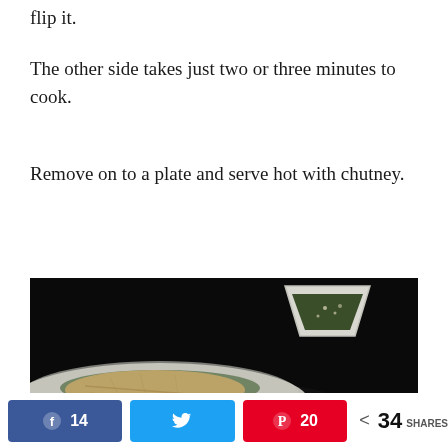flip it.
The other side takes just two or three minutes to cook.
Remove on to a plate and serve hot with chutney.
[Figure (photo): Food photo on dark background showing a white plate with a flatbread/pancake and a small white square bowl containing green chutney]
14  [Facebook share]  [Twitter share]  20 [Pinterest share]  < 34 SHARES